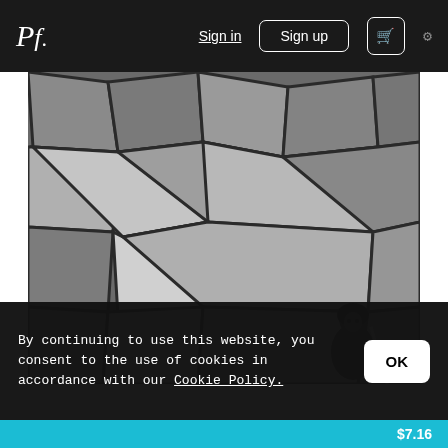Pf. | Sign in | Sign up | Cart | Settings
[Figure (photo): Black and white photograph of a stone wall with large irregular cobblestones viewed from above. A person in dark winter clothing crouches in the lower right corner, appearing small against the massive stones.]
By continuing to use this website, you consent to the use of cookies in accordance with our Cookie Policy.
OK
$7.16